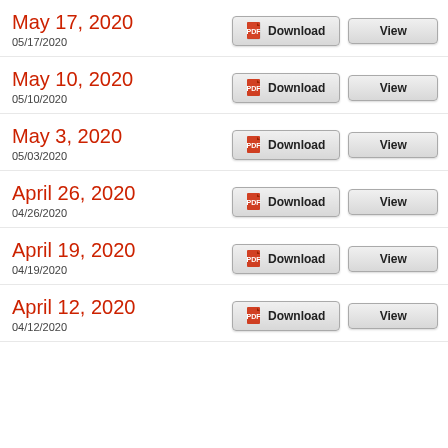May 17, 2020
05/17/2020
May 10, 2020
05/10/2020
May 3, 2020
05/03/2020
April 26, 2020
04/26/2020
April 19, 2020
04/19/2020
April 12, 2020
04/12/2020